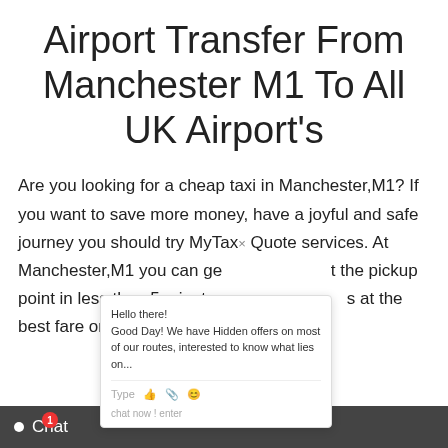Airport Transfer From Manchester M1 To All UK Airport's
Are you looking for a cheap taxi in Manchester,M1? If you want to save more money, have a joyful and safe journey you should try MyTax× Quote services. At Manchester,M1 you can get the pickup point in less than 5 minutes, s at the best fare on the online.
[Figure (screenshot): Live chat popup widget showing message: 'Hello there! Good Day! We have Hidden offers on most of our routes, interested to know what lies on...' with Type input area and icons]
[Figure (screenshot): Dark chat bar at bottom of page with white dot bullet, Chat label, and red notification badge showing 1]